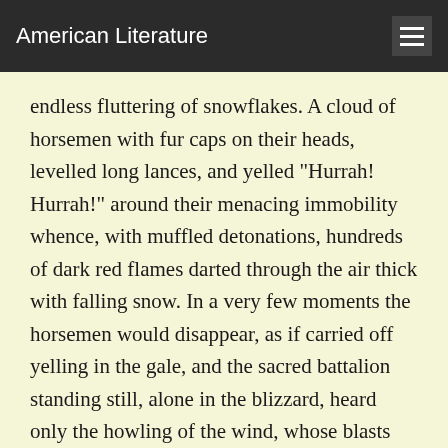American Literature
endless fluttering of snowflakes. A cloud of horsemen with fur caps on their heads, levelled long lances, and yelled "Hurrah! Hurrah!" around their menacing immobility whence, with muffled detonations, hundreds of dark red flames darted through the air thick with falling snow. In a very few moments the horsemen would disappear, as if carried off yelling in the gale, and the sacred battalion standing still, alone in the blizzard, heard only the howling of the wind, whose blasts searched their very hearts. Then, with a cry or two of "Vive l'Empereur!" it would resume its march, leaving behind a few life- less bodies lying huddled up, tiny